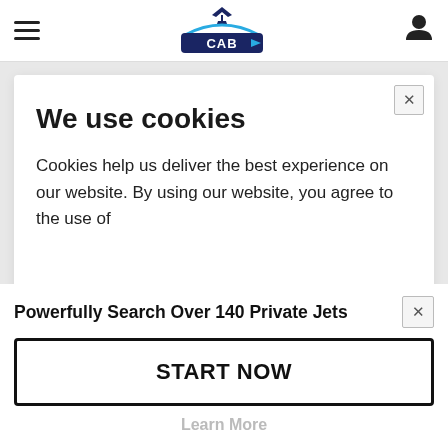[Figure (logo): Aviation/private jet booking website logo with airplane icon and stylized text, dark navy and blue colors]
We use cookies
Cookies help us deliver the best experience on our website. By using our website, you agree to the use of
Powerfully Search Over 140 Private Jets
START NOW
Learn More